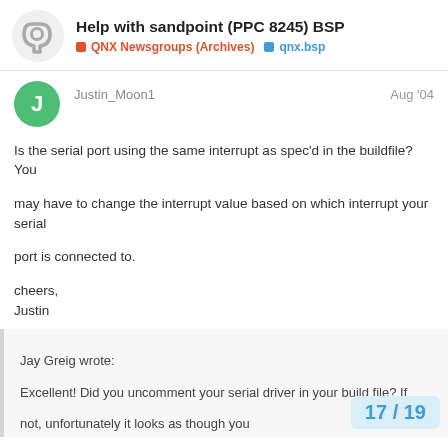Help with sandpoint (PPC 8245) BSP | QNX Newsgroups (Archives) | qnx.bsp
Justin_Moon1 Aug '04
Is the serial port using the same interrupt as spec'd in the buildfile? You may have to change the interrupt value based on which interrupt your serial port is connected to.

cheers,
Justin
"John Kiernan" <jkiernan@birinc.com> wrote in message news:cf0s2b$dqf$1@inn.qnx.com...
Jay Greig wrote:
Excellent! Did you uncomment your serial driver in your build file? If not, unfortunately it looks as though you
17 / 19